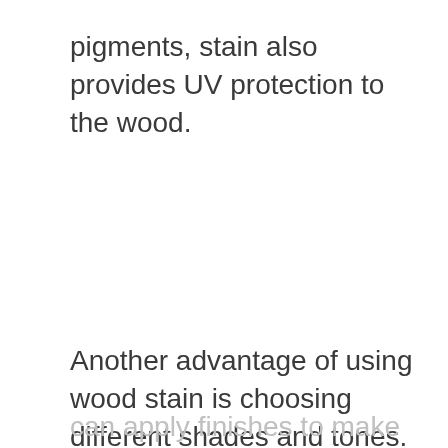pigments, stain also provides UV protection to the wood.
Another advantage of using wood stain is choosing different shades and tones. You can apply finishes to make the wood look like redwood, walnut, or cedar. Or if the